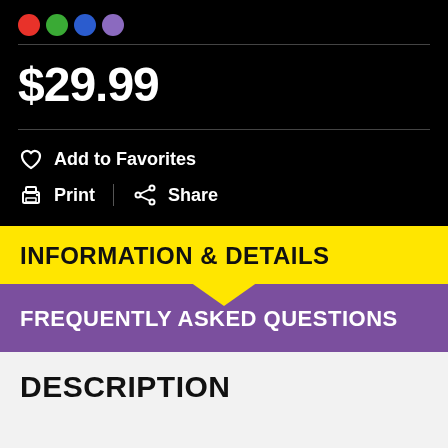[Figure (other): Four colored dots: red, green, blue, purple]
$29.99
♡ Add to Favorites
🖨 Print  |  Share
INFORMATION & DETAILS
FREQUENTLY ASKED QUESTIONS
DESCRIPTION